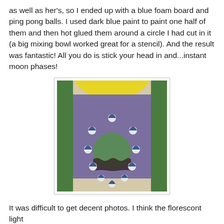as well as her's, so I ended up with a blue foam board and ping pong balls. I used dark blue paint to paint one half of them and then hot glued them around a circle I had cut in it (a big mixing bowl worked great for a stencil). And the result was fantastic! All you do is stick your head in and...instant moon phases!
[Figure (photo): A purple foam board with a large circular hole cut in the center, surrounded by ping pong balls (half painted dark blue) representing moon phases. Behind the board are green panels and a yellow curved element at the top. The background behind the hole shows a green painted wall with a wavy dark border.]
It was difficult to get decent photos. I think the florescont light